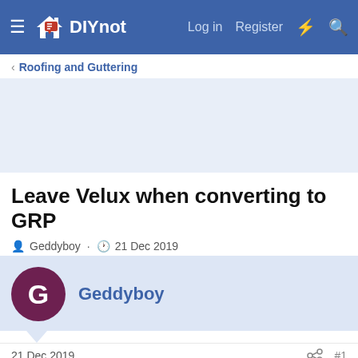DIYnot — Log in · Register
Roofing and Guttering
Leave Velux when converting to GRP
Geddyboy · 21 Dec 2019
Geddyboy
21 Dec 2019  #1
Looking into the conversion of our 10 degree tiled extension roof to GRP. Is it possible to leave the Velux (I believe they should be at least at 15 degrees) when the GRP is fitted? Not sure if these